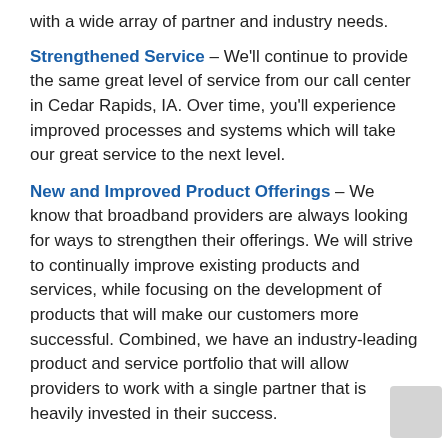with a wide array of partner and industry needs.
Strengthened Service – We'll continue to provide the same great level of service from our call center in Cedar Rapids, IA. Over time, you'll experience improved processes and systems which will take our great service to the next level.
New and Improved Product Offerings – We know that broadband providers are always looking for ways to strengthen their offerings. We will strive to continually improve existing products and services, while focusing on the development of products that will make our customers more successful. Combined, we have an industry-leading product and service portfolio that will allow providers to work with a single partner that is heavily invested in their success.